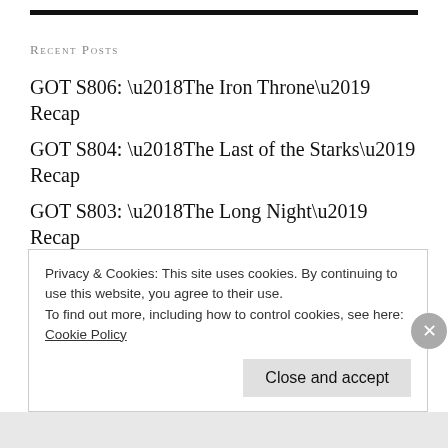Recent Posts
GOT S806: ‘The Iron Throne’ Recap
GOT S804: ‘The Last of the Starks’ Recap
GOT S803: ‘The Long Night’ Recap
GOT S802: ‘A Knight of the Seven Kingdoms’ Recap
GOT S801: ‘Winterfell’ Recap
10 Conversations We’ll See in Game of Thrones
Privacy & Cookies: This site uses cookies. By continuing to use this website, you agree to their use.
To find out more, including how to control cookies, see here: Cookie Policy
Close and accept